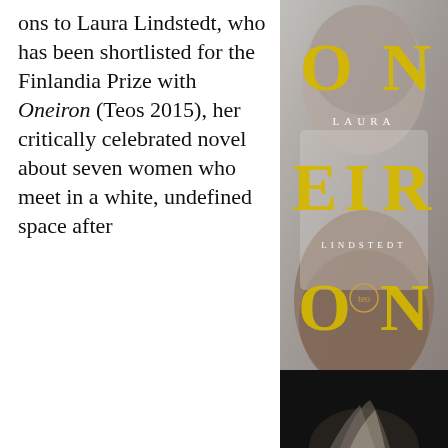ons to Laura Lindstedt, who has been shortlisted for the Finlandia Prize with Oneiron (Teos 2015), her critically celebrated novel about seven women who meet in a white, undefined space after
[Figure (photo): Book cover of 'Oneiron' by Laura Lindstedt. The cover features a woman's head/hair viewed from behind in soft grey tones. Large yellow letters spell out O-N-E-I-R-O-N vertically across the cover with 'LAURA' and 'LINDSTEDT' in small white spaced serif text between. A small circular publisher logo (Teos) appears near the bottom center.]
[Figure (photo): Partial photo at the bottom right: dark background with what appears to be a person's light-colored hair visible, very dark/night-time atmosphere.]